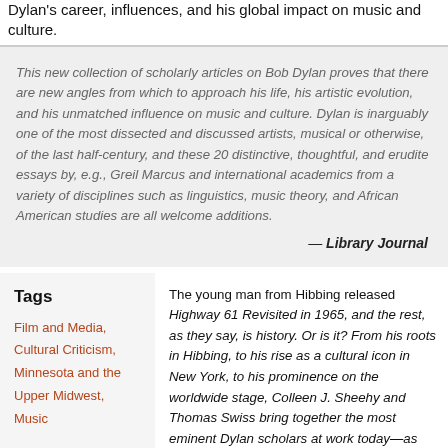Dylan's career, influences, and his global impact on music and culture.
This new collection of scholarly articles on Bob Dylan proves that there are new angles from which to approach his life, his artistic evolution, and his unmatched influence on music and culture. Dylan is inarguably one of the most dissected and discussed artists, musical or otherwise, of the last half-century, and these 20 distinctive, thoughtful, and erudite essays by, e.g., Greil Marcus and international academics from a variety of disciplines such as linguistics, music theory, and African American studies are all welcome additions.
— Library Journal
Tags
Film and Media,
Cultural Criticism,
Minnesota and the Upper Midwest,
Music
The young man from Hibbing released Highway 61 Revisited in 1965, and the rest, as they say, is history. Or is it? From his roots in Hibbing, to his rise as a cultural icon in New York, to his prominence on the worldwide stage, Colleen J. Sheehy and Thomas Swiss bring together the most eminent Dylan scholars at work today—as